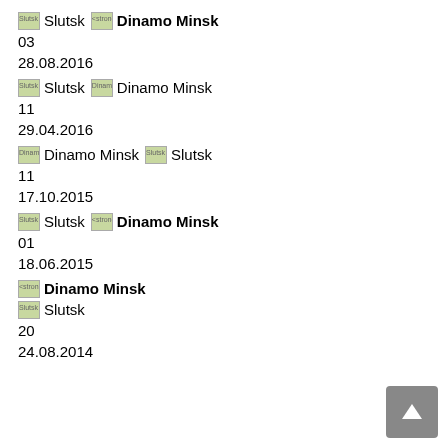Slutsk badge Slutsk [Dinamo Minsk badge] Dinamo Minsk 03
28.08.2016
Slutsk badge Slutsk Dinamo Minsk badge Dinamo Minsk 11
29.04.2016
Dinamo Minsk badge Dinamo Minsk Slutsk badge Slutsk 11
17.10.2015
Slutsk badge Slutsk [Dinamo Minsk badge] Dinamo Minsk 01
18.06.2015
[Dinamo Minsk badge] Dinamo Minsk Slutsk badge Slutsk 20
24.08.2014